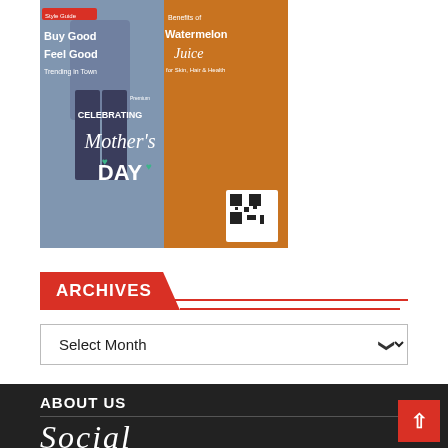[Figure (infographic): Advertisement banner showing a collage: man in jeans on left side with text 'Style Guide Buy Good Feel Good Trending in Town', center shows 'Celebrating Mother's Day' on orange background, right side shows 'Benefits of Watermelon Juice for Skin, Hair & Health' with a QR code]
ARCHIVES
Select Month
ABOUT US
Social